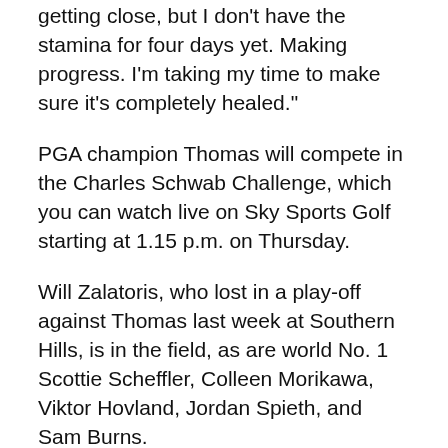getting close, but I don't have the stamina for four days yet. Making progress. I'm taking my time to make sure it's completely healed."
PGA champion Thomas will compete in the Charles Schwab Challenge, which you can watch live on Sky Sports Golf starting at 1.15 p.m. on Thursday.
Will Zalatoris, who lost in a play-off against Thomas last week at Southern Hills, is in the field, as are world No. 1 Scottie Scheffler, Colleen Morikawa, Viktor Hovland, Jordan Spieth, and Sam Burns.
In 2021, defending winner Jason Kokrak defeated fellow American Jordan Spieth by two shots to win the title.
For golf tournament, golf live score, golf daily update, golf championship, golf club, golf live update, live golf